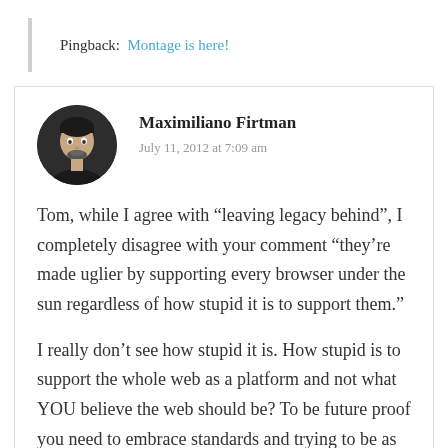Pingback: Montage is here!
Maximiliano Firtman
July 11, 2012 at 7:09 am
Tom, while I agree with “leaving legacy behind”, I completely disagree with your comment “they’re made uglier by supporting every browser under the sun regardless of how stupid it is to support them.”
I really don’t see how stupid it is. How stupid is to support the whole web as a platform and not what YOU believe the web should be? To be future proof you need to embrace standards and trying to be as...